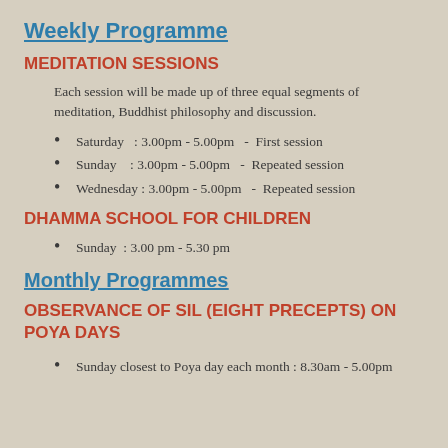Weekly Programme
MEDITATION SESSIONS
Each session will be made up of three equal segments of meditation, Buddhist philosophy and discussion.
Saturday   : 3.00pm - 5.00pm   -  First session
Sunday     : 3.00pm - 5.00pm   -  Repeated session
Wednesday : 3.00pm - 5.00pm   -  Repeated session
DHAMMA SCHOOL FOR CHILDREN
Sunday  : 3.00 pm - 5.30 pm
Monthly Programmes
OBSERVANCE OF SIL (EIGHT PRECEPTS) ON POYA DAYS
Sunday closest to Poya day each month : 8.30am - 5.00pm